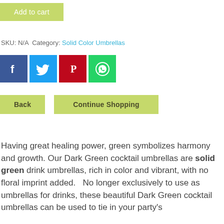Add to cart
SKU: N/A  Category: Solid Color Umbrellas
[Figure (other): Social media share icons: Facebook (blue), Twitter (blue), Pinterest (red), WhatsApp (green)]
Back    Continue Shopping
Having great healing power, green symbolizes harmony and growth.  Our Dark Green cocktail umbrellas are solid green drink umbrellas, rich in color and vibrant, with no floral imprint added.   No longer exclusively to use as umbrellas for drinks, these beautiful Dark Green cocktail umbrellas can be used to tie in your party's